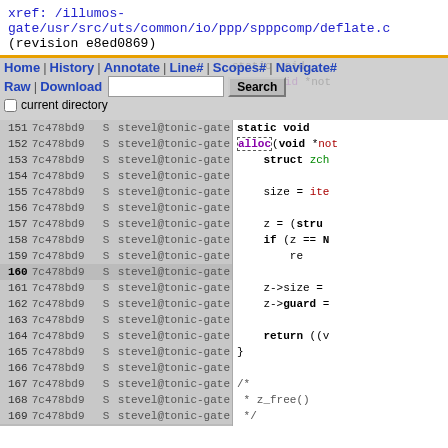xref: /illumos-gate/usr/src/uts/common/io/ppp/spppcomp/deflate.c (revision e8ed0869)
Navigation bar with Home | History | Annotate | Line# | Scopes# | Navigate# | Raw | Download | Search | current directory
| Line | Rev | Flag | Author | Code |
| --- | --- | --- | --- | --- |
| 151 | 7c478bd9 | S | stevel@tonic-gate | alloc(void *not |
| 152 | 7c478bd9 | S | stevel@tonic-gate |  |
| 153 | 7c478bd9 | S | stevel@tonic-gate | struct zch |
| 154 | 7c478bd9 | S | stevel@tonic-gate |  |
| 155 | 7c478bd9 | S | stevel@tonic-gate | size = ite |
| 156 | 7c478bd9 | S | stevel@tonic-gate |  |
| 157 | 7c478bd9 | S | stevel@tonic-gate | z = (stru |
| 158 | 7c478bd9 | S | stevel@tonic-gate | if (z == N |
| 159 | 7c478bd9 | S | stevel@tonic-gate | re |
| 160 | 7c478bd9 | S | stevel@tonic-gate |  |
| 161 | 7c478bd9 | S | stevel@tonic-gate | z->size = |
| 162 | 7c478bd9 | S | stevel@tonic-gate | z->guard = |
| 163 | 7c478bd9 | S | stevel@tonic-gate |  |
| 164 | 7c478bd9 | S | stevel@tonic-gate | return ((v |
| 165 | 7c478bd9 | S | stevel@tonic-gate | } |
| 166 | 7c478bd9 | S | stevel@tonic-gate |  |
| 167 | 7c478bd9 | S | stevel@tonic-gate | /* |
| 168 | 7c478bd9 | S | stevel@tonic-gate |  * z_free() |
| 169 | 7c478bd9 | S | stevel@tonic-gate |  */ |
| 170 | 7c478bd9 | S | stevel@tonic-gate | /* ARGSUSED */ |
| 171 | 7c478bd9 | S | stevel@tonic-gate | static void |
| 172 | 7c478bd9 | S | stevel@tonic-gate | z_free(void *notu |
| 173 | 7c478bd9 | S | stevel@tonic-gate | { |
| 174 | 7c478bd9 | S | stevel@tonic-gate | struct zch |
| 175 | 7c478bd9 | S | stevel@tonic-gate |  |